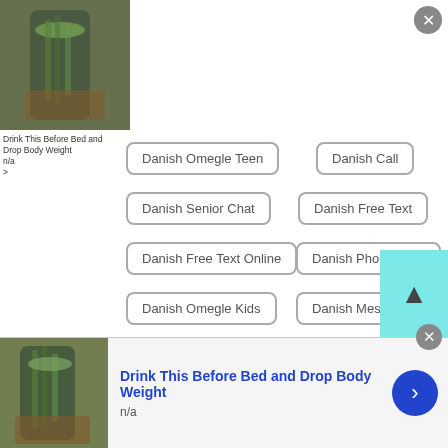[Figure (photo): Photo of a drink in a jar with cucumber/lemon slices, shown in top-left corner]
Drink This Before Bed and Drop Body Weight
n/a
>
Danish Omegle Teen
Danish Call
Danish Senior Chat
Danish Free Text
Danish Free Text Online
Danish Phone Chat
Danish Omegle Kids
Danish Messages App
Danish Free Texting Online
Danish Arab Chat
Danish Omegle Com
Danish Gay Live Chat
Danish Omegle Online
Danish Conference Call
Danish Voice Chat
[Figure (photo): Bottom ad: Photo of a drink in a jar with cucumber slices]
Drink This Before Bed and Drop Body Weight
n/a